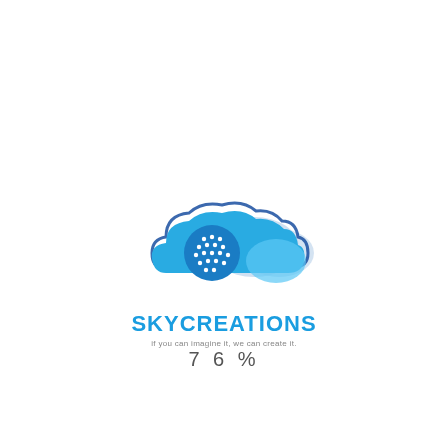[Figure (logo): SkyCreations logo: cloud shape in blue with dotted globe icon, text SKYCREATIONS and tagline 'if you can imagine it, we can create it.']
76%